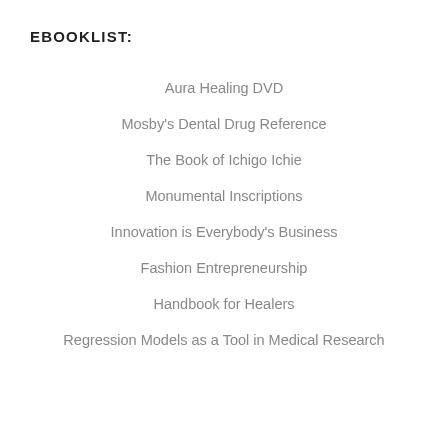EBOOKLIST:
Aura Healing DVD
Mosby's Dental Drug Reference
The Book of Ichigo Ichie
Monumental Inscriptions
Innovation is Everybody's Business
Fashion Entrepreneurship
Handbook for Healers
Regression Models as a Tool in Medical Research